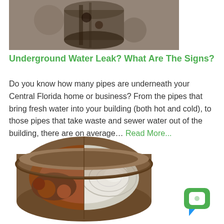[Figure (photo): Close-up photo of a corroded underground pipe or fitting with dirt and rust visible]
Underground Water Leak? What Are The Signs?
Do you know how many pipes are underneath your Central Florida home or business? From the pipes that bring fresh water into your building (both hot and cold), to those pipes that take waste and sewer water out of the building, there are on average… Read More...
[Figure (photo): Cross-section of a corroded pipe showing rust and sediment buildup inside, with a clean interior on the right half]
[Figure (logo): Green chat bubble icon with a speech bubble shape and blue accent at bottom]